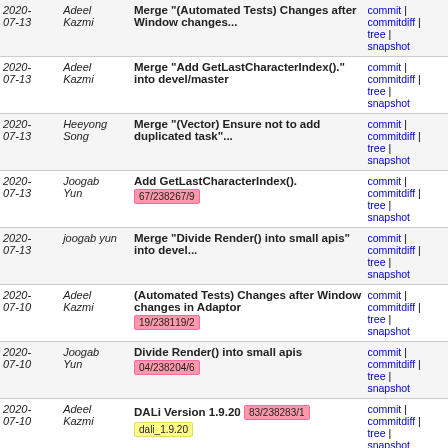| Date | Author | Description | Links |
| --- | --- | --- | --- |
| 2020-07-13 | Adeel Kazmi | Merge "(Automated Tests) Changes after Window changes... | commit | commitdiff | tree | snapshot |
| 2020-07-13 | Adeel Kazmi | Merge "Add GetLastCharacterIndex()." into devel/master | commit | commitdiff | tree | snapshot |
| 2020-07-13 | Heeyong Song | Merge "(Vector) Ensure not to add duplicated task"... | commit | commitdiff | tree | snapshot |
| 2020-07-13 | Joogab Yun | Add GetLastCharacterIndex(). [67/238267/9] | commit | commitdiff | tree | snapshot |
| 2020-07-13 | joogab yun | Merge "Divide Render() into small apis" into devel... | commit | commitdiff | tree | snapshot |
| 2020-07-10 | Adeel Kazmi | (Automated Tests) Changes after Window changes in Adaptor [19/238119/2] | commit | commitdiff | tree | snapshot |
| 2020-07-10 | Joogab Yun | Divide Render() into small apis [04/238204/6] | commit | commitdiff | tree | snapshot |
| 2020-07-10 | Adeel Kazmi | DALi Version 1.9.20 [83/238283/1] dali_1.9.20 | commit | commitdiff | tree | snapshot |
| 2020-07-09 | Adeel Kazmi | Merge "Call LoadTexture() for ReleasePolicy" into devel... | commit | commitdiff | tree | snapshot |
| 2020-07-09 | Adeel Kazmi | Merge "Support Asynchronous Loading of Animated Image... | commit | commitdiff | tree | snapshot |